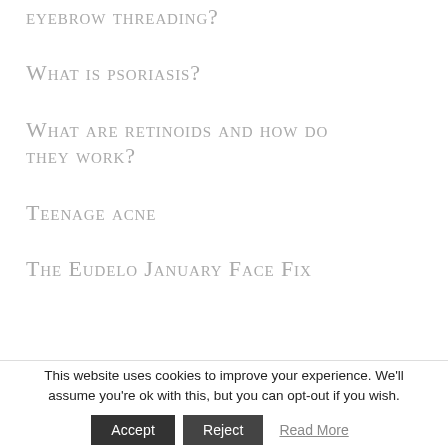eyebrow threading?
What is psoriasis?
What are retinoids and how do they work?
Teenage acne
The Eudelo January Face Fix
This website uses cookies to improve your experience. We'll assume you're ok with this, but you can opt-out if you wish.